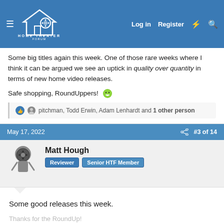HOME THEATER FORUM — Log in | Register
Some big titles again this week. One of those rare weeks where I think it can be argued we see an uptick in quality over quantity in terms of new home video releases.
Safe shopping, RoundUppers! 😁
pitchman, Todd Erwin, Adam Lenhardt and 1 other person
May 17, 2022 | #3 of 14
Matt Hough — Reviewer | Senior HTF Member
Some good releases this week.
Thanks for the RoundUp!